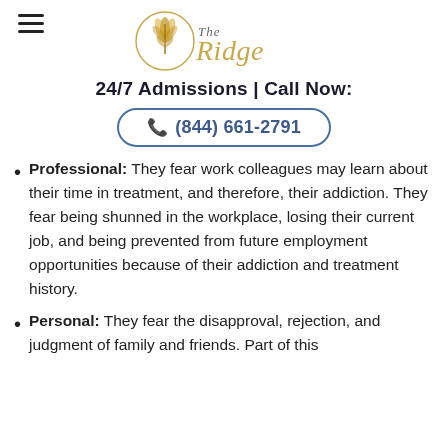[Figure (logo): The Ridge logo with golden wheat/leaf circular emblem and stylized gold cursive 'The Ridge' text]
24/7 Admissions | Call Now:
(844) 661-2791
Professional: They fear work colleagues may learn about their time in treatment, and therefore, their addiction. They fear being shunned in the workplace, losing their current job, and being prevented from future employment opportunities because of their addiction and treatment history.
Personal: They fear the disapproval, rejection, and judgment of family and friends. Part of this